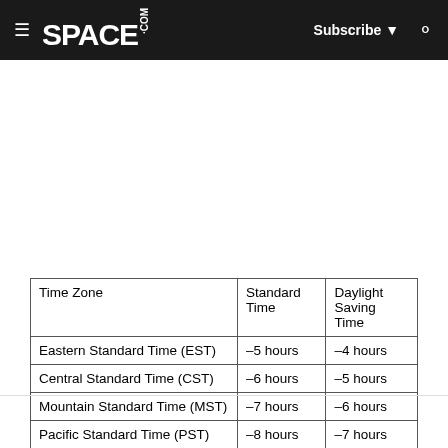SPACE.com — Subscribe
| Time Zone | Standard Time | Daylight Saving Time |
| --- | --- | --- |
| Eastern Standard Time (EST) | –5 hours | –4 hours |
| Central Standard Time (CST) | –6 hours | –5 hours |
| Mountain Standard Time (MST) | –7 hours | –6 hours |
| Pacific Standard Time (PST) | –8 hours | –7 hours |